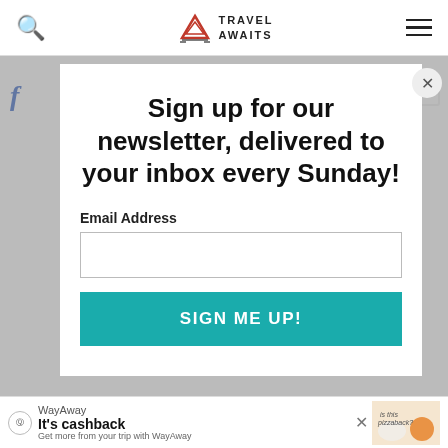Travel Awaits
Sign up for our newsletter, delivered to your inbox every Sunday!
Email Address
SIGN ME UP!
[Figure (screenshot): WayAway advertisement bar at bottom: It's cashback - Get more from your trip with WayAway]